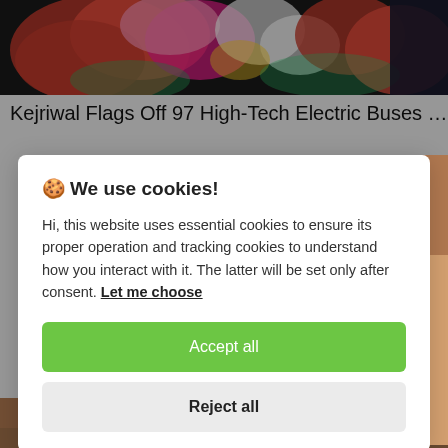[Figure (photo): Colorful floral arrangement at the top of the page, with red, pink, and white flowers against a dark background.]
Kejriwal Flags Off 97 High-Tech Electric Buses …
[Figure (photo): Partial image of people visible at the bottom of the page behind the cookie dialog overlay.]
🍪 We use cookies!

Hi, this website uses essential cookies to ensure its proper operation and tracking cookies to understand how you interact with it. The latter will be set only after consent. Let me choose

[Accept all]
[Reject all]